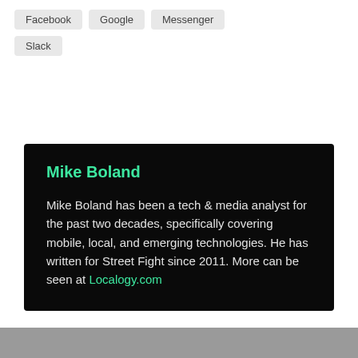Facebook
Google
Messenger
Slack
Mike Boland
Mike Boland has been a tech & media analyst for the past two decades, specifically covering mobile, local, and emerging technologies. He has written for Street Fight since 2011. More can be seen at Localogy.com